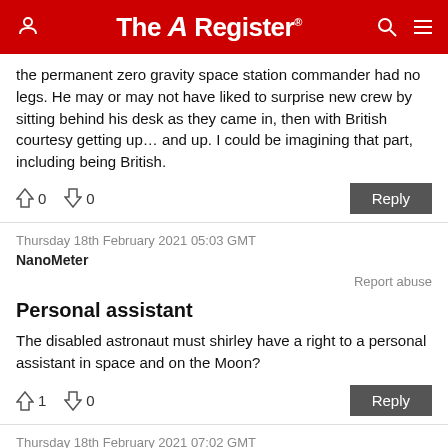The Register
the permanent zero gravity space station commander had no legs. He may or may not have liked to surprise new crew by sitting behind his desk as they came in, then with British courtesy getting up... and up. I could be imagining that part, including being British.
↑0 ↓0  Reply
Thursday 18th February 2021 05:03 GMT
NanoMeter
Report abuse
Personal assistant
The disabled astronaut must shirley have a right to a personal assistant in space and on the Moon?
↑1 ↓0  Reply
Thursday 18th February 2021 07:02 GMT